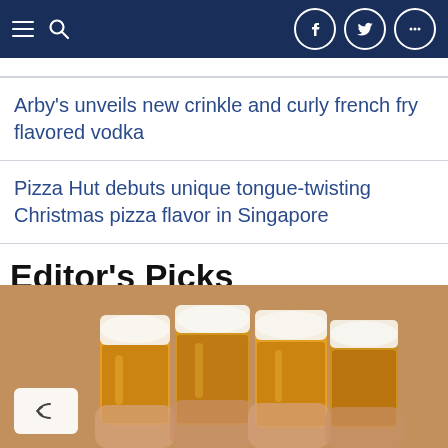Navigation bar with hamburger menu, search icon, Facebook, Twitter, and more icons
Arby's unveils new crinkle and curly french fry flavored vodka
Pizza Hut debuts unique tongue-twisting Christmas pizza flavor in Singapore
Editor's Picks
[Figure (photo): Photo of people toasting with beer mugs, hands holding glass beer steins clinking together with brick wall in background]